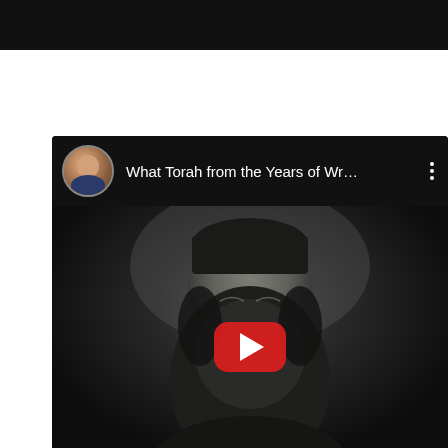[Figure (screenshot): YouTube video thumbnail showing a black-and-white portrait photograph of a bearded man wearing a dark cap, with a YouTube play button overlay. The video title reads 'What Torah from the Years of Wr...' with a channel avatar showing a man in a suit on the left side of the video header bar.]